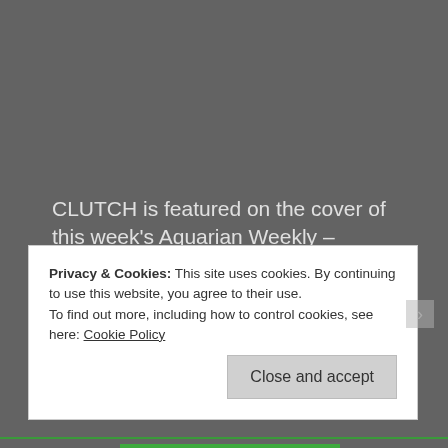CLUTCH is featured on the cover of this week's Aquarian Weekly – available for free in New York and across the Tri-State Area. Check out the cover HERE.
Privacy & Cookies: This site uses cookies. By continuing to use this website, you agree to their use. To find out more, including how to control cookies, see here: Cookie Policy
Close and accept